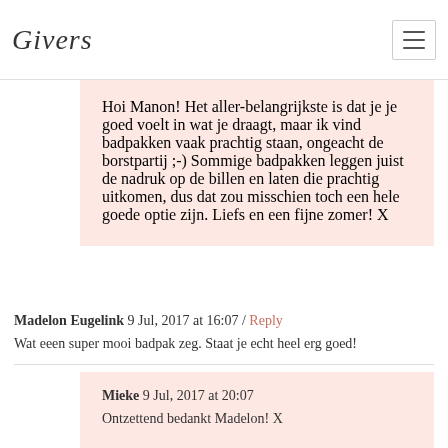Givers
Hoi Manon! Het aller-belangrijkste is dat je je goed voelt in wat je draagt, maar ik vind badpakken vaak prachtig staan, ongeacht de borstpartij ;-) Sommige badpakken leggen juist de nadruk op de billen en laten die prachtig uitkomen, dus dat zou misschien toch een hele goede optie zijn. Liefs en een fijne zomer! X
Madelon Eugelink 9 Jul, 2017 at 16:07 / Reply
Wat eeen super mooi badpak zeg. Staat je echt heel erg goed!
Mieke 9 Jul, 2017 at 20:07
Ontzettend bedankt Madelon! X